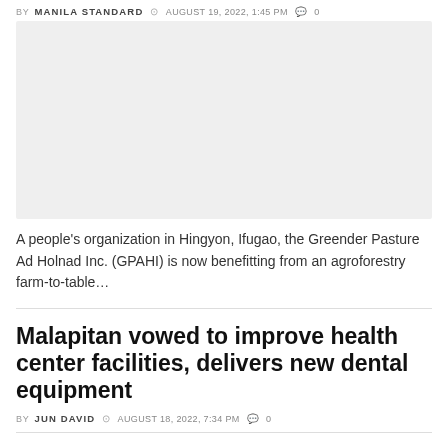BY MANILA STANDARD  AUGUST 19, 2022, 1:45 PM  0
[Figure (photo): Gray placeholder image for article photo]
A people's organization in Hingyon, Ifugao, the Greender Pasture Ad Holnad Inc. (GPAHI) is now benefitting from an agroforestry farm-to-table…
Malapitan vowed to improve health center facilities, delivers new dental equipment
BY JUN DAVID  AUGUST 18, 2022, 7:34 PM  0